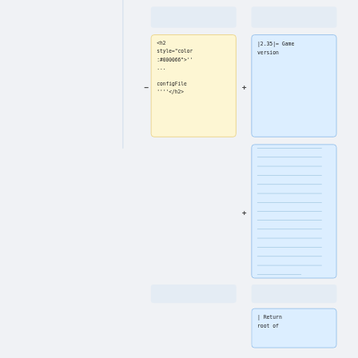[Figure (screenshot): Diff/merge tool UI showing two code blocks side by side. Left column shows a yellow highlighted box containing HTML code: <h2 style="color:#000066">'' ... configFile ''''</h2>. Right column shows a blue highlighted box with text: |2.35|= Game version. Below is a large blue lined box (multi-line text area placeholder). At the bottom, two grey placeholder boxes and a blue box with text: | Return root of. Minus and plus operator symbols appear between columns.]
<h2 style="color:#000066">'' ... configFile ''''</h2>
|2.35|= Game version
| Return root of